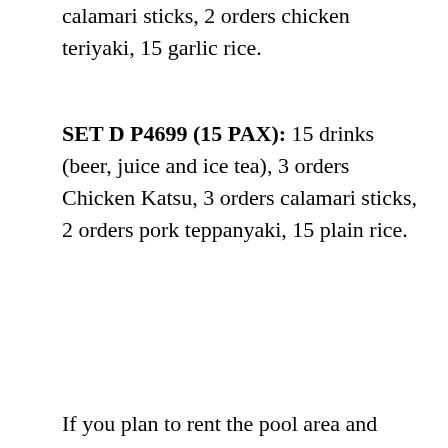calamari sticks, 2 orders chicken teriyaki, 15 garlic rice.
SET D P4699 (15 PAX): 15 drinks (beer, juice and ice tea), 3 orders Chicken Katsu, 3 orders calamari sticks, 2 orders pork teppanyaki, 15 plain rice.
If you plan to rent the pool area and enjoy